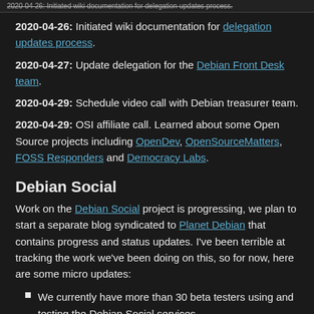2020-04-26: Initiated wiki documentation for delegation updates process.
2020-04-27: Update delegation for the Debian Front Desk team.
2020-04-29: Schedule video call with Debian treasurer team.
2020-04-29: OSI affiliate call. Learned about some Open Source projects including OpenDev, OpenSourceMatters, FOSS Responders and Democracy Labs.
Debian Social
Work on the Debian Social project is progressing, we plan to start a separate blog syndicated to Planet Debian that contains progress and status updates. I've been terrible at tracking the work we've been doing on this, so for now, here are some micro updates:
We currently have more than 30 beta testers using and testing the Debian Social services.
PeerTube seems to be working quite well for the kind of